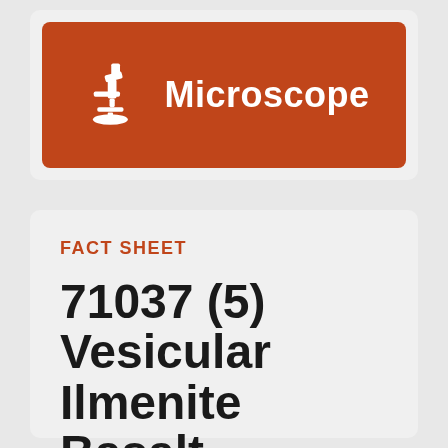[Figure (logo): Microscope icon with text 'Microscope' on a burnt orange/rust colored banner background]
FACT SHEET
71037 (5) Vesicular Ilmenite Basalt